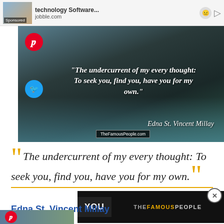[Figure (screenshot): Advertisement bar showing 'Technology Software...' from jobble.com with sponsored label and media icons]
[Figure (photo): Quote card image with dark pool/nature background showing quote by Edna St. Vincent Millay: The undercurrent of my every thought: To seek you, find you, have you for my own. With Pinterest and Twitter share buttons and TheFamousPeople.com badge.]
“The undercurrent of my every thought: To seek you, find you, have you for my own.”
Edna St. Vincent Millay
[Figure (screenshot): Video overlay panel showing 'You' button on black background and TheFamousPeople logo in gold and grey text. Close button X visible.]